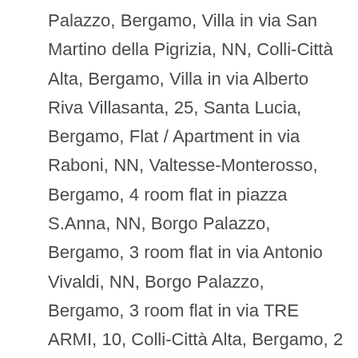Palazzo, Bergamo, Villa in via San Martino della Pigrizia, NN, Colli-Città Alta, Bergamo, Villa in via Alberto Riva Villasanta, 25, Santa Lucia, Bergamo, Flat / Apartment in via Raboni, NN, Valtesse-Monterosso, Bergamo, 4 room flat in piazza S.Anna, NN, Borgo Palazzo, Bergamo, 3 room flat in via Antonio Vivaldi, NN, Borgo Palazzo, Bergamo, 3 room flat in via TRE ARMI, 10, Colli-Città Alta, Bergamo, 2 room flat in borgo palazzo, 59, Borgo Palazzo, Bergamo, 4 room flat in via tito livio, Valtesse-Monterosso, Bergamo, 2 room flat in borgo Santa Caterina, Borgo Santa Caterina-Redona, Bergamo, 3 room flat in via Monte Grigna, 14, Celadina, Bergamo, 3 room flat in via Torni, 24, Colli-Città Alta, Bergamo, Flat / Apartment in via